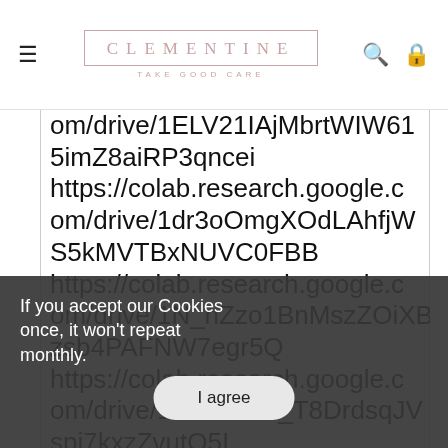[Figure (screenshot): Clementine website header/navigation bar with hamburger menu, logo in pink border box reading CLEMENTINE with tagline TAKE GOOD CARE, search icon, and shopping bag icon]
om/drive/1ELV21IAjMbrtWIW615imZ8aiRP3qncei https://colab.research.google.com/drive/1dr3oOmgXOdLAhfjWS5kMVTBxNUVC0FBB https://colab.research.google.com/drive/1N_nZzo1BnMszZOiXBzsb4PAFNW7egr5Q https://colab.research.google.com/drive/1Tm7riv1z_T8DrdsqJVspi7kxzZvutO5I https://colab.research.google.com/drive/1ix1NYaUB2Oo4VS2V8IU...W6w40 https://colab.research.google.c om/drive/1WyrbbBSapp2O1YB
If you accept our Cookies once, it won't repeat monthly.
I agree